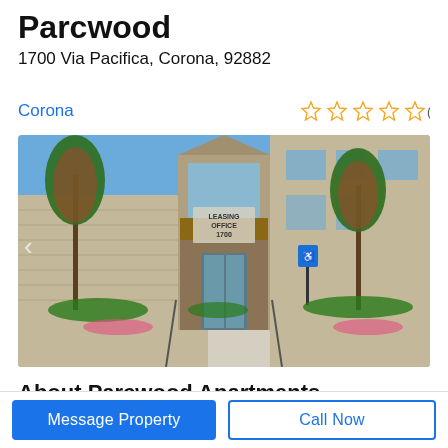Parcwood
1700 Via Pacifica, Corona, 92882
Corona
☆☆☆☆☆ (0)
[Figure (photo): Exterior photo of Parcwood apartment complex leasing office at 1700 Via Pacifica, Corona. Shows a two-story building with 'LEASING OFFICE 1700' signage, glass entrance doors, a concrete walkway, landscaping with trees and flowering plants, and a handicapped parking sign.]
About Parcwood Apartments
Message Property
Call Now